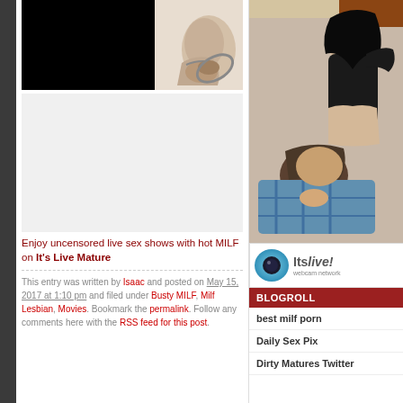[Figure (photo): Two-part image strip: left portion is blacked out (censored), right portion shows partial figure with jewelry/bracelet on light background]
[Figure (photo): Advertisement placeholder area (blank/empty ad space)]
Enjoy uncensored live sex shows with hot MILF on It's Live Mature
This entry was written by Isaac and posted on May 15, 2017 at 1:10 pm and filed under Busty MILF, Milf Lesbian, Movies. Bookmark the permalink. Follow any comments here with the RSS feed for this post.
[Figure (photo): Right sidebar: adult content photo showing two people on bed]
[Figure (logo): ItsLive! webcam network banner logo with camera icon]
BLOGROLL
best milf porn
Daily Sex Pix
Dirty Matures Twitter